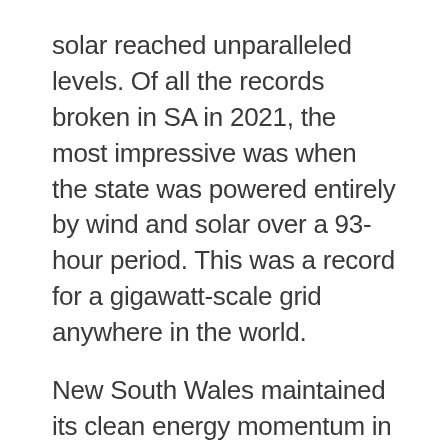solar reached unparalleled levels. Of all the records broken in SA in 2021, the most impressive was when the state was powered entirely by wind and solar over a 93-hour period. This was a record for a gigawatt-scale grid anywhere in the world.
New South Wales maintained its clean energy momentum in 2021, making a flurry of new announcements and commitments, including formally declaring Australia's first renewable energy zone, offering $3 billion in incentives for new hydrogen projects in the state and approving the construction of Project EnergyConnect, the $2.3 billion